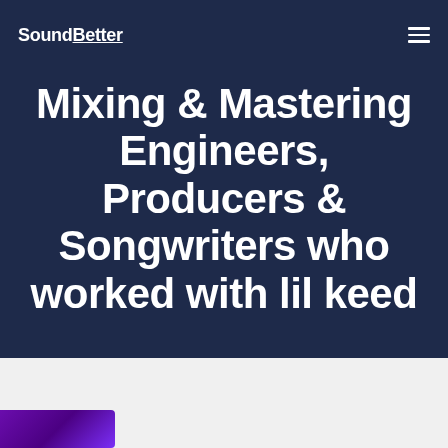SoundBetter
Mixing & Mastering Engineers, Producers & Songwriters who worked with lil keed
[Figure (photo): Purple thumbnail image partially visible at bottom left of page]